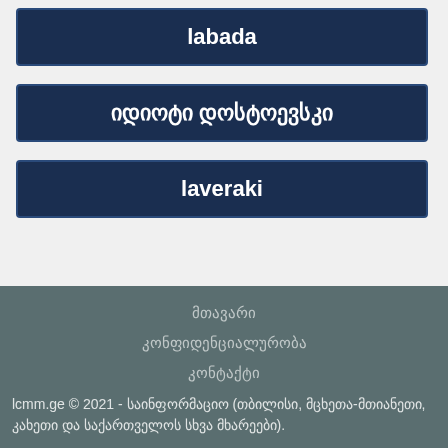labada
იდიოტი დოსტოევსკი
laveraki
მთავარი
კონფიდენციალურობა
კონტაქტი
lcmm.ge © 2021 - საინფორმაციო (თბილისი, მცხეთა-მთიანეთი, კახეთი და საქართველოს სხვა მხარეები).